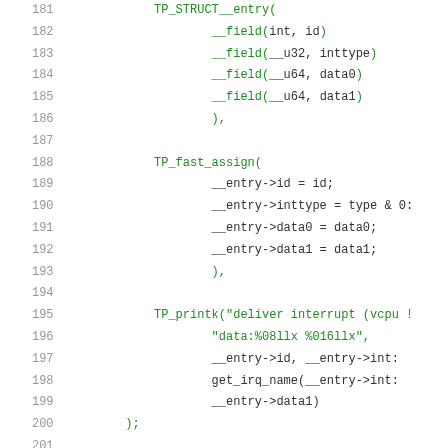[Figure (screenshot): Source code listing showing lines 181-201 of a C kernel trace point definition, including TP_STRUCT__entry, TP_fast_assign, and TP_printk macros with fields for id, inttype, data0, data1.]